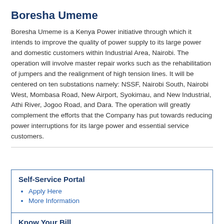Boresha Umeme
Boresha Umeme is a Kenya Power initiative through which it intends to improve the quality of power supply to its large power and domestic customers within Industrial Area, Nairobi. The operation will involve master repair works such as the rehabilitation of jumpers and the realignment of high tension lines. It will be centered on ten substations namely: NSSF, Nairobi South, Nairobi West, Mombasa Road, New Airport, Syokimau, and New Industrial, Athi River, Jogoo Road, and Dara. The operation will greatly complement the efforts that the Company has put towards reducing power interruptions for its large power and essential service customers.
Self-Service Portal
Apply Here
More Information
Know Your Bill
Click Here to know about your bill